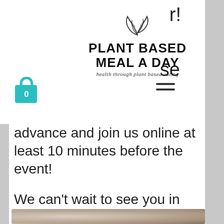Plant Based Meal A Day — health through plant based eating
advance and join us online at least 10 minutes before the event!
We can't wait to see you in the kitchen!
[Figure (photo): Two people in a kitchen, blurred/obscured image]